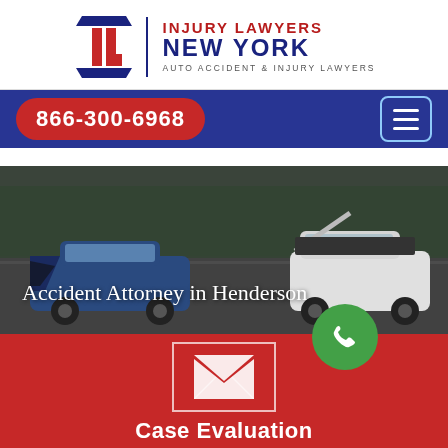[Figure (logo): Injury Lawyers New York logo with IL monogram and company name]
866-300-6968
[Figure (photo): Car accident photo showing a crashed blue car and a white car with open trunk on a road]
Accident Attorney in Henderson
[Figure (infographic): Green phone call button circle and white envelope mail icon box on red background]
Case Evaluation